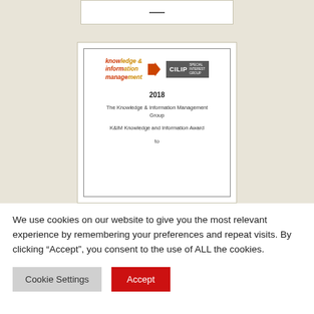[Figure (illustration): Screenshot of a webpage showing a Knowledge & Information Management CILIP Special Interest Group certificate for 2018, with the text 'The Knowledge & Information Management Group', 'K&IM Knowledge and Information Award', and 'to'. The top portion shows a partially visible white box with a horizontal dash. A cookie consent banner overlays the bottom half.]
We use cookies on our website to give you the most relevant experience by remembering your preferences and repeat visits. By clicking “Accept”, you consent to the use of ALL the cookies.
Cookie Settings
Accept